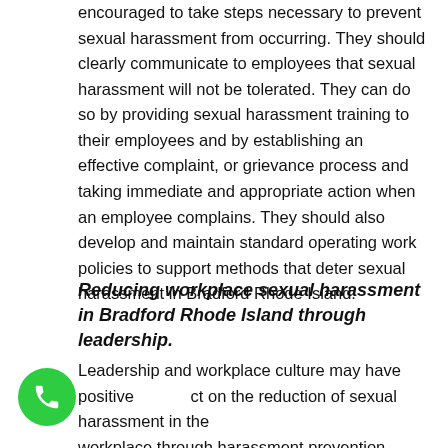encouraged to take steps necessary to prevent sexual harassment from occurring. They should clearly communicate to employees that sexual harassment will not be tolerated. They can do so by providing sexual harassment training to their employees and by establishing an effective complaint, or grievance process and taking immediate and appropriate action when an employee complains. They should also develop and maintain standard operating work policies to support methods that deter sexual harassment in Bradford Rhode Island.
Reducing workplace sexual harassment in Bradford Rhode Island through leadership.
Leadership and workplace culture may have positive effect on the reduction of sexual harassment in the workplace through harassment prevention efforts that